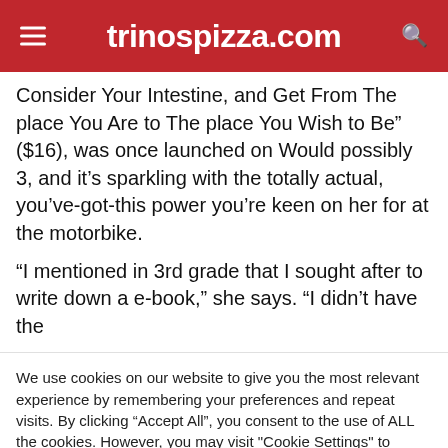trinospizza.com
Consider Your Intestine, and Get From The place You Are to The place You Wish to Be” ($16), was once launched on Would possibly 3, and it’s sparkling with the totally actual, you’ve-got-this power you’re keen on her for at the motorbike.
“I mentioned in 3rd grade that I sought after to write down a e-book,” she says. “I didn’t have the
We use cookies on our website to give you the most relevant experience by remembering your preferences and repeat visits. By clicking “Accept All”, you consent to the use of ALL the cookies. However, you may visit "Cookie Settings" to provide a controlled consent.